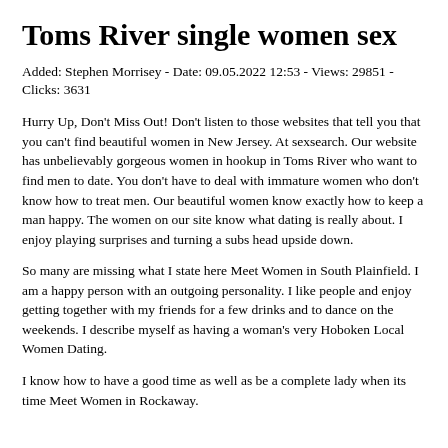Toms River single women sex
Added: Stephen Morrisey - Date: 09.05.2022 12:53 - Views: 29851 - Clicks: 3631
Hurry Up, Don't Miss Out! Don't listen to those websites that tell you that you can't find beautiful women in New Jersey. At sexsearch. Our website has unbelievably gorgeous women in hookup in Toms River who want to find men to date. You don't have to deal with immature women who don't know how to treat men. Our beautiful women know exactly how to keep a man happy. The women on our site know what dating is really about. I enjoy playing surprises and turning a subs head upside down.
So many are missing what I state here Meet Women in South Plainfield. I am a happy person with an outgoing personality. I like people and enjoy getting together with my friends for a few drinks and to dance on the weekends. I describe myself as having a woman's very Hoboken Local Women Dating.
I know how to have a good time as well as be a complete lady when its time Meet Women in Rockaway.